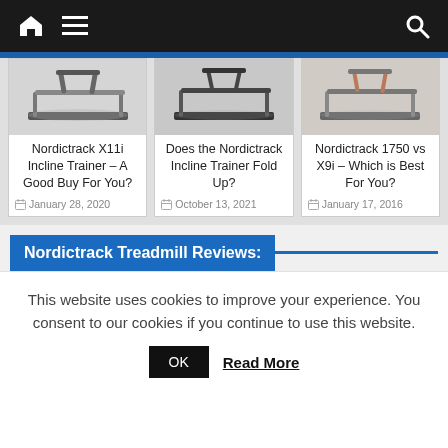Navigation bar with home, menu, and search icons
[Figure (photo): Three treadmill product images in card thumbnails]
Nordictrack X11i Incline Trainer – A Good Buy For You?
January 28, 2020
Does the Nordictrack Incline Trainer Fold Up?
October 13, 2021
Nordictrack 1750 vs X9i – Which is Best For You?
January 17, 2016
Nordictrack Treadmill Reviews:
This website uses cookies to improve your experience. You consent to our cookies if you continue to use this website.
OK  Read More